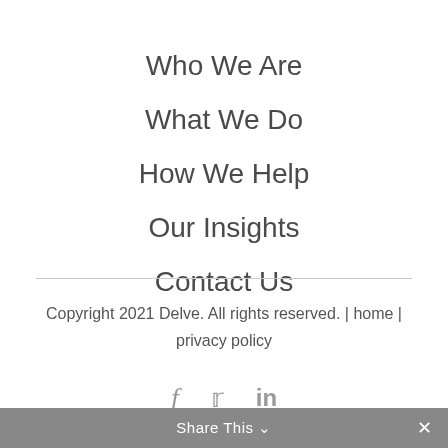Who We Are
What We Do
How We Help
Our Insights
Contact Us
Copyright 2021 Delve. All rights reserved. | home | privacy policy
Share This